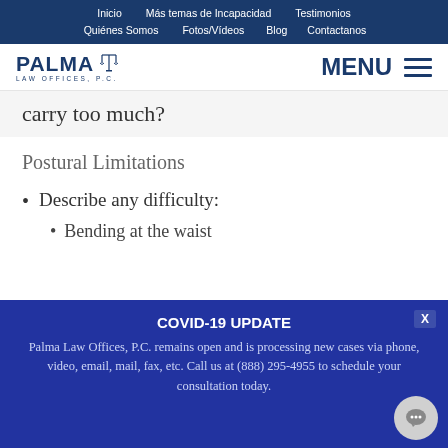Inicio | Más temas de Incapacidad | Testimonios | Quiénes Somos | Fotos/Vídeos | Blog | Contactanos
[Figure (logo): Palma Law Offices P.C. logo with scales of justice icon]
carry too much?
Postural Limitations
Describe any difficulty:
Bending at the waist
COVID-19 UPDATE
Palma Law Offices, P.C. remains open and is processing new cases via phone, video, email, mail, fax, etc. Call us at (888) 295-4955 to schedule your consultation today.